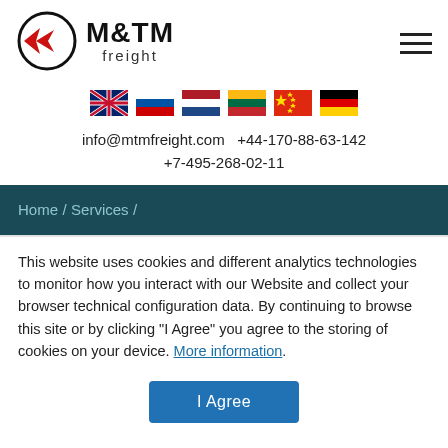[Figure (logo): M&TM Freight company logo with circular emblem and red arrow, followed by bold M&TM text and 'freight' subtitle]
[Figure (infographic): Row of six country flags: UK, Russia, Netherlands, Lithuania, China, Germany]
info@mtmfreight.com  +44-170-88-63-142
+7-495-268-02-11
Home / Services /
This website uses cookies and different analytics technologies to monitor how you interact with our Website and collect your browser technical configuration data. By continuing to browse this site or by clicking "I Agree" you agree to the storing of cookies on your device. More information.
I Agree